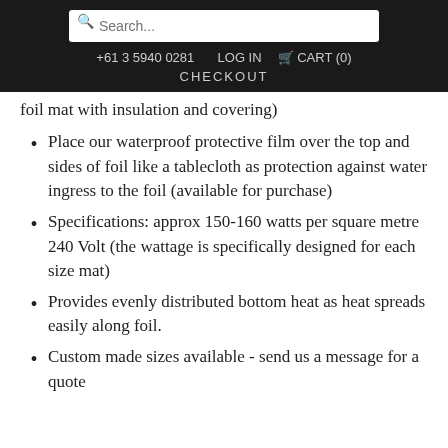Search... +61 3 5940 0281 LOG IN CART (0) CHECKOUT
foil mat with insulation and covering)
Place our waterproof protective film over the top and sides of foil like a tablecloth as protection against water ingress to the foil (available for purchase)
Specifications: approx 150-160 watts per square metre 240 Volt (the wattage is specifically designed for each size mat)
Provides evenly distributed bottom heat as heat spreads easily along foil.
Custom made sizes available - send us a message for a quote